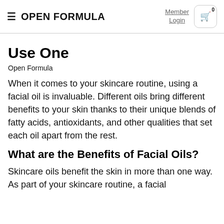OPEN FORMULA | Member Login | Cart 0
Use One
Open Formula
When it comes to your skincare routine, using a facial oil is invaluable. Different oils bring different benefits to your skin thanks to their unique blends of fatty acids, antioxidants, and other qualities that set each oil apart from the rest.
What are the Benefits of Facial Oils?
Skincare oils benefit the skin in more than one way. As part of your skincare routine, a facial